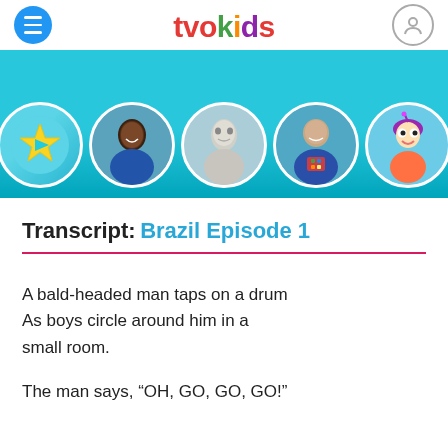tvokids
[Figure (illustration): TVOKids website header banner showing five circular avatar icons on a teal background: a star with play button, a young Black man, a robot/AI face, a young man holding a Rubik's cube, and an animated cartoon girl character with purple hair.]
Transcript: Brazil Episode 1
A bald-headed man taps on a drum As boys circle around him in a small room.
The man says, “OH, GO, GO, GO!”